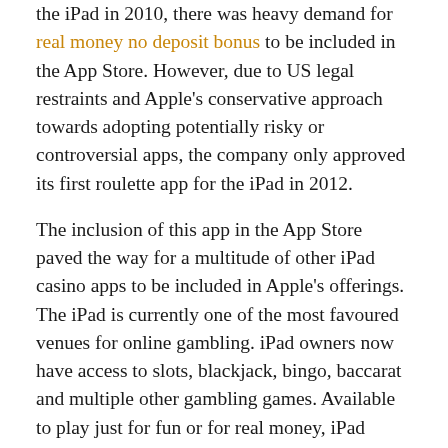the iPad in 2010, there was heavy demand for real money no deposit bonus to be included in the App Store. However, due to US legal restraints and Apple's conservative approach towards adopting potentially risky or controversial apps, the company only approved its first roulette app for the iPad in 2012.
The inclusion of this app in the App Store paved the way for a multitude of other iPad casino apps to be included in Apple's offerings. The iPad is currently one of the most favoured venues for online gambling. iPad owners now have access to slots, blackjack, bingo, baccarat and multiple other gambling games. Available to play just for fun or for real money, iPad casino apps continue to stay in high demand amongst App Store options.
iPad Casino Apps Boast the Perfect Platform
iPad casino apps quickly became the most popular